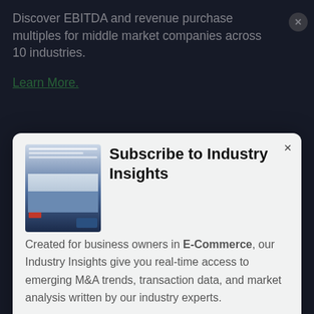Discover EBITDA and revenue purchase multiples for middle market companies across 10 industries.
Learn More.
Subscribe to Industry Insights
Created for business owners in E-Commerce, our Industry Insights give you real-time access to emerging M&A trends, transaction data, and market analysis written by our industry experts.
Subscribe
E-commerce & Retail